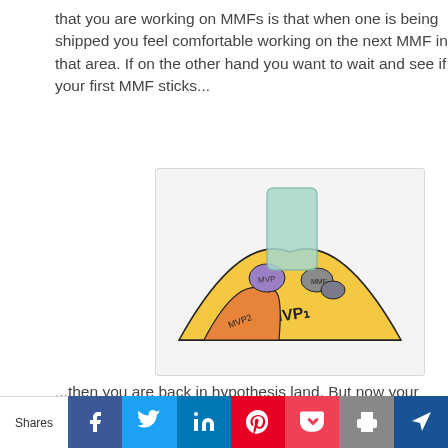that you are working on MMFs is that when one is being shipped you feel comfortable working on the next MMF in that area. If on the other hand you want to wait and see if your first MMF sticks...
[Figure (illustration): Hand-drawn illustration showing stacked MVP hills/mountains labeled MVP1, MVP2, and MVP, with a tall teal rectangle (representing a feature/block) on top, on a light gray background]
...then you are back in hypothesis land. But now your hypothesis is centered on a feature rather than your product. You have an area with high potential but also high
Shares | Facebook | Twitter | LinkedIn | Pinterest | Pocket | Print | Kindle